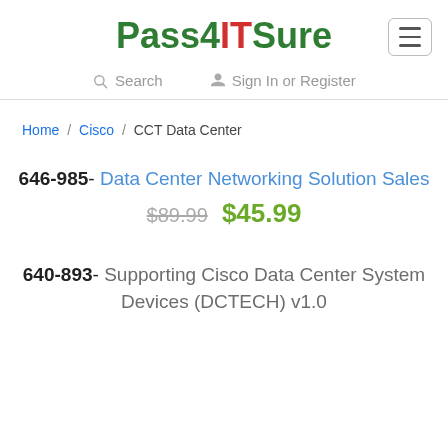[Figure (logo): Pass4ITSure logo with green 'Pass4' and 'Sure' and red 'IT' text]
Search   Sign In or Register
Home / Cisco / CCT Data Center
646-985- Data Center Networking Solution Sales $89.99 $45.99
640-893- Supporting Cisco Data Center System Devices (DCTECH) v1.0